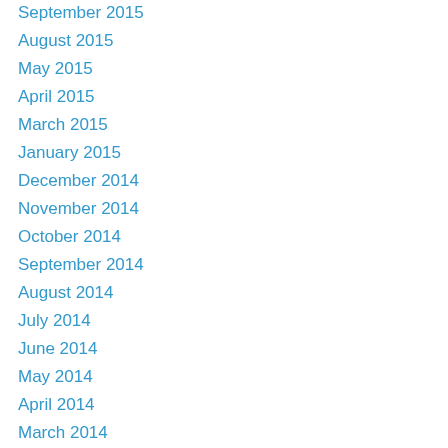September 2015
August 2015
May 2015
April 2015
March 2015
January 2015
December 2014
November 2014
October 2014
September 2014
August 2014
July 2014
June 2014
May 2014
April 2014
March 2014
February 2014
January 2014
December 2013
November 2013